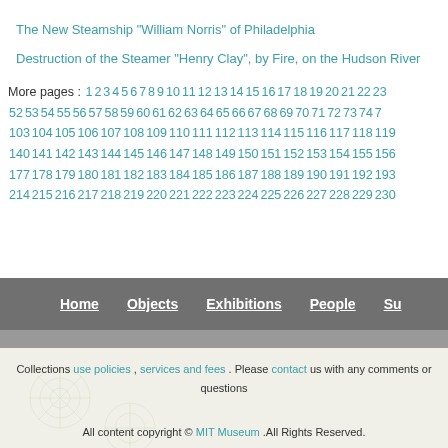The New Steamship "William Norris" of Philadelphia
Destruction of the Steamer "Henry Clay", by Fire, on the Hudson River
More pages : 1 2 3 4 5 6 7 8 9 10 11 12 13 14 15 16 17 18 19 20 21 22 23... 52 53 54 55 56 57 58 59 60 61 62 63 64 65 66 67 68 69 70 71 72 73 74 7... 103 104 105 106 107 108 109 110 111 112 113 114 115 116 117 118 119... 140 141 142 143 144 145 146 147 148 149 150 151 152 153 154 155 156... 177 178 179 180 181 182 183 184 185 186 187 188 189 190 191 192 193... 214 215 216 217 218 219 220 221 222 223 224 225 226 227 228 229 230...
Home  Objects  Exhibitions  People  Su...
Collections  use policies , services and fees . Please contact us with any comments or questions
All content copyright © [MIT Museum] .All Rights Reserved.